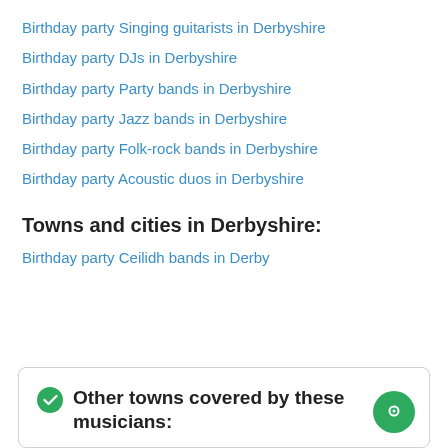Birthday party Singing guitarists in Derbyshire
Birthday party DJs in Derbyshire
Birthday party Party bands in Derbyshire
Birthday party Jazz bands in Derbyshire
Birthday party Folk-rock bands in Derbyshire
Birthday party Acoustic duos in Derbyshire
Towns and cities in Derbyshire:
Birthday party Ceilidh bands in Derby
Other towns covered by these musicians: